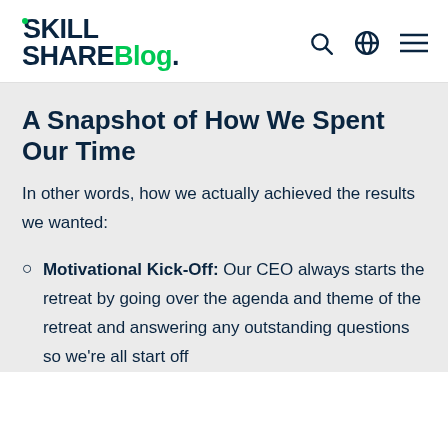Skill Share Blog.
A Snapshot of How We Spent Our Time
In other words, how we actually achieved the results we wanted:
Motivational Kick-Off: Our CEO always starts the retreat by going over the agenda and theme of the retreat and answering any outstanding questions so we're all start off